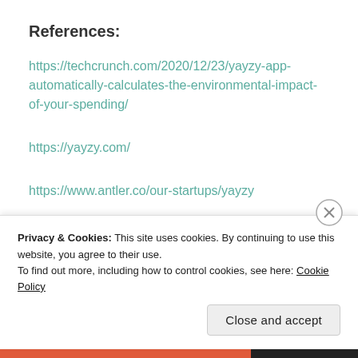References:
https://techcrunch.com/2020/12/23/yayzy-app-automatically-calculates-the-environmental-impact-of-your-spending/
https://yayzy.com/
https://www.antler.co/our-startups/yayzy
https://ecosphere.plus/
Privacy & Cookies: This site uses cookies. By continuing to use this website, you agree to their use.
To find out more, including how to control cookies, see here: Cookie Policy